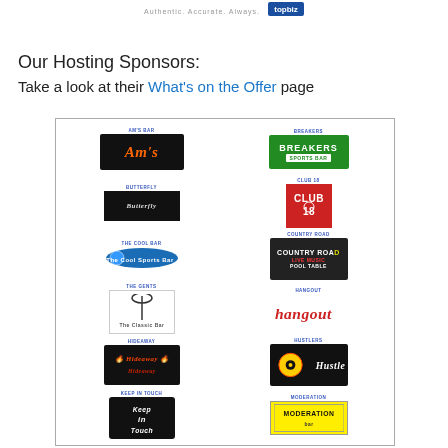Authentic. Accurate. Always.
Our Hosting Sponsors:
Take a look at their What's on the Offer page
[Figure (infographic): Grid of hosting sponsor logos including Am's Bar, Breakers Sports Bar, Butterfly, Club 18, The Cool Bar, Country Road, The Gents, Hangout, Hideaway, Hustlers, Keep in Touch, Moderation]